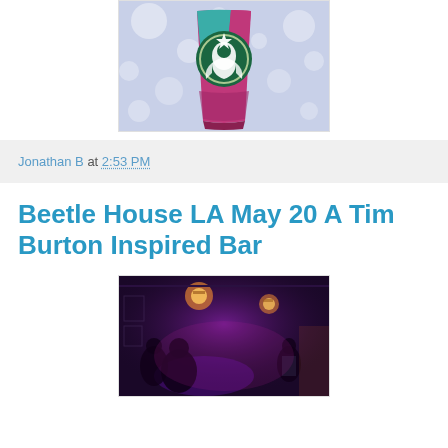[Figure (photo): Starbucks cup with pink and teal design against a blurred bokeh background]
Jonathan B at 2:53 PM
Beetle House LA May 20 A Tim Burton Inspired Bar
[Figure (photo): Interior of a bar with purple lighting, chandeliers, and patrons]